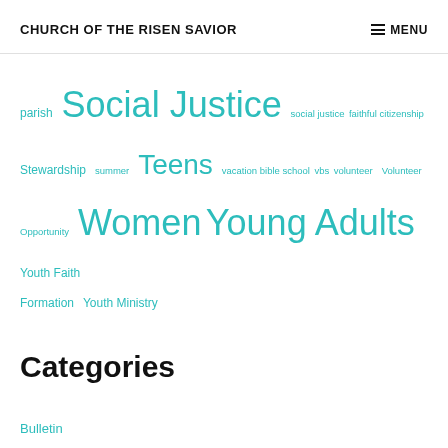CHURCH OF THE RISEN SAVIOR   MENU
parish Social Justice social justice faithful citizenship Stewardship summer Teens vacation bible school vbs volunteer Volunteer Opportunity Women Young Adults Youth Faith Formation Youth Ministry
Categories
Bulletin